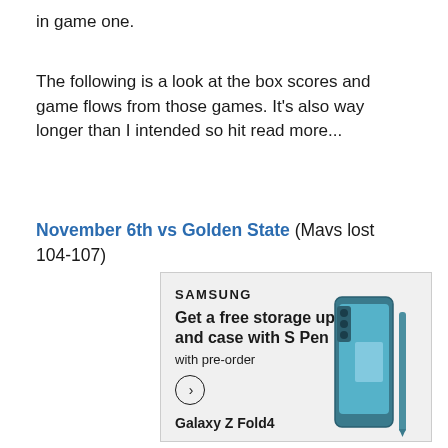in game one.
The following is a look at the box scores and game flows from those games. It's also way longer than I intended so hit read more...
November 6th vs Golden State (Mavs lost 104-107)
[Figure (other): Samsung advertisement showing Galaxy Z Fold4 smartphone with text: SAMSUNG, Get a free storage upgrade and case with S Pen, with pre-order, Galaxy Z Fold4]